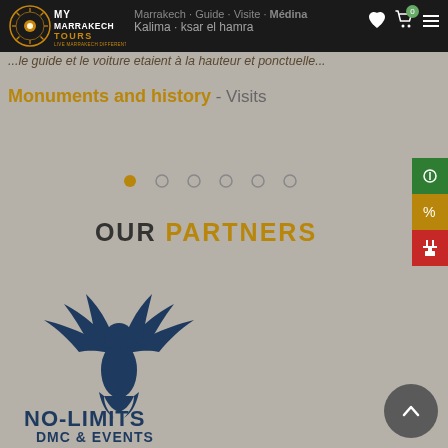My Marrakech Tours - Live Marrakech Differently
...guides et les voitures etaient à la hauteur et ponctuelle...
Monuments and history - Visits
[Figure (other): Carousel pagination dots - 6 dots with first one filled/active in gold]
OUR PARTNERS
[Figure (logo): No-Limits DMC & Events logo featuring a dark blue bird/eagle with spread wings above the text NO-LIMITS DMC & EVENTS in dark blue]